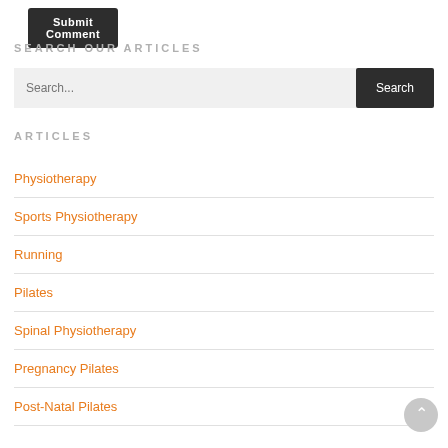[Figure (other): Submit Comment button (dark rounded rectangle)]
SEARCH OUR ARTICLES
[Figure (other): Search bar with text input placeholder 'Search...' and dark Search button]
ARTICLES
Physiotherapy
Sports Physiotherapy
Running
Pilates
Spinal Physiotherapy
Pregnancy Pilates
Post-Natal Pilates